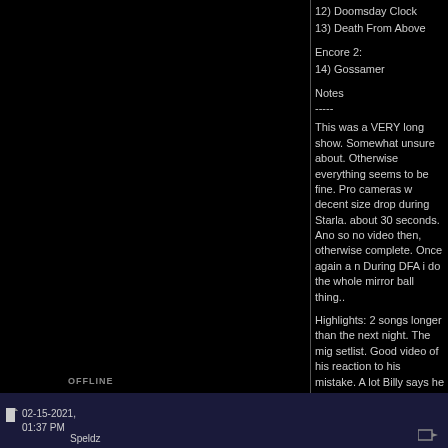12) Doomsday Clock
13) Death From Above
Encore 2:
14) Gossamer
Notes
-----
This was a VERY long show. Somewhat unsure about. Otherwise everything seems to be fine. Pro cameras w decent size drop during Starla. about 30 seconds. And so no video then, otherwise complete. Once again a n During DFA i do the whole mirror ball thing..
Highlights: 2 songs longer than the next night. The mig setlist. Good video of his reaction to his mistake. A lot Billy says he wrote the rose march the night before (al You also get to hear Ginger kind of talk. And hear Corg
A HD 1080i BLU-RAY version currently not available f exist. (I am looking for Asheville shows in HD to trade
OFFLINE
02-15-2021, 01:37 PM
Speldz